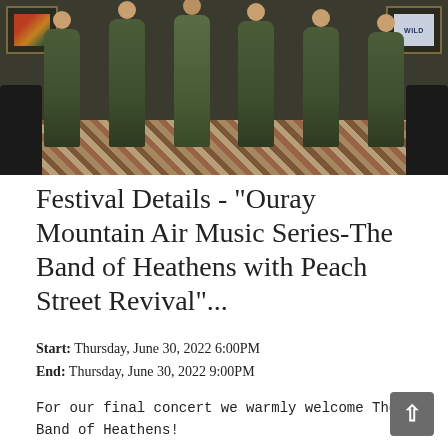[Figure (photo): A group of band members (approximately 5-6 people) all wearing olive/dark green jumpsuits, standing together in a room with dark leather couches on either side, a patterned rug on the floor, and framed artwork on the walls behind them. A red pillow is visible on the right couch.]
Festival Details - "Ouray Mountain Air Music Series-The Band of Heathens with Peach Street Revival"...
Start: Thursday, June 30, 2022 6:00PM
End: Thursday, June 30, 2022 9:00PM
For our final concert we warmly welcome The Band of Heathens!